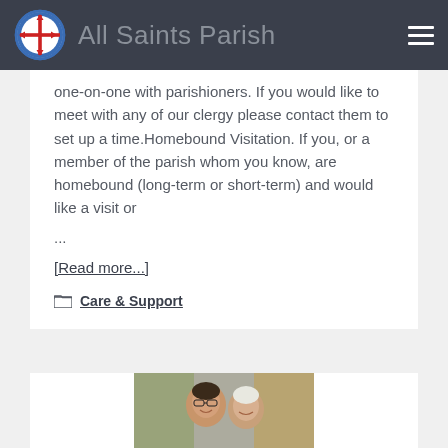All Saints Parish
one-on-one with parishioners. If you would like to meet with any of our clergy please contact them to set up a time.Homebound Visitation. If you, or a member of the parish whom you know, are homebound (long-term or short-term) and would like a visit or ...
[Read more...]
Care & Support
[Figure (photo): Two smiling women photographed together, partial view from below]